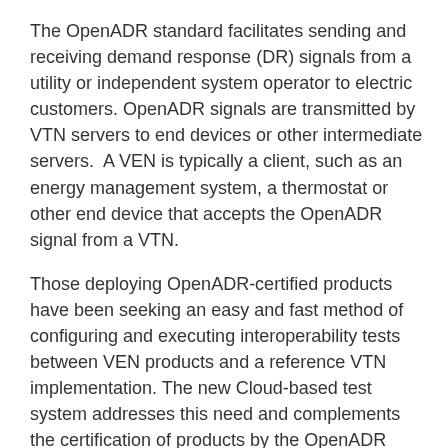The OpenADR standard facilitates sending and receiving demand response (DR) signals from a utility or independent system operator to electric customers. OpenADR signals are transmitted by VTN servers to end devices or other intermediate servers.  A VEN is typically a client, such as an energy management system, a thermostat or other end device that accepts the OpenADR signal from a VTN.
Those deploying OpenADR-certified products have been seeking an easy and fast method of configuring and executing interoperability tests between VEN products and a reference VTN implementation. The new Cloud-based test system addresses this need and complements the certification of products by the OpenADR Alliance (www.openadr.org).  The cloud-based test system enables the development of interoperability tests mirroring specific deployment scenarios that can be run prior to VENs being deployed in the field.
While a beta version of the EPRI VTN is available for download at no charge from Source Forge, QualityLogic has deployed the